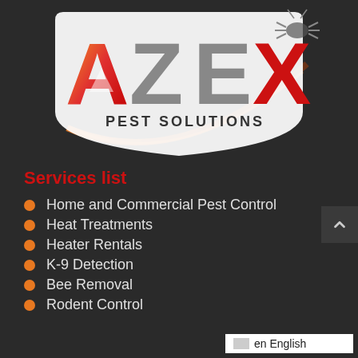[Figure (logo): AZEX Pest Solutions logo with large stylized letters A, Z, E, X in red/gray/orange gradient with a pest control swoosh graphic and cartoon bug on dark background]
Services list
Home and Commercial Pest Control
Heat Treatments
Heater Rentals
K-9 Detection
Bee Removal
Rodent Control
en English